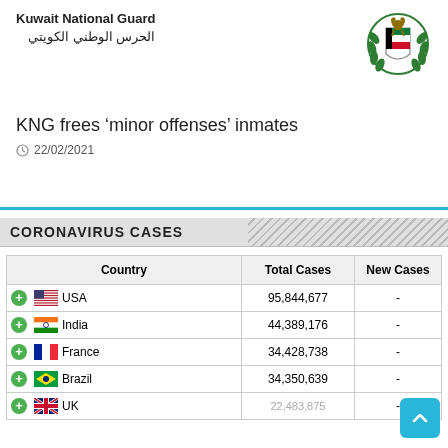KNG frees ‘minor offenses’ inmates
22/02/2021
CORONAVIRUS CASES
| Country | Total Cases | New Cases |
| --- | --- | --- |
| USA | 95,844,677 | - |
| India | 44,389,176 | - |
| France | 34,428,738 | - |
| Brazil | 34,350,639 | - |
| UK | 22,483,875 | - |